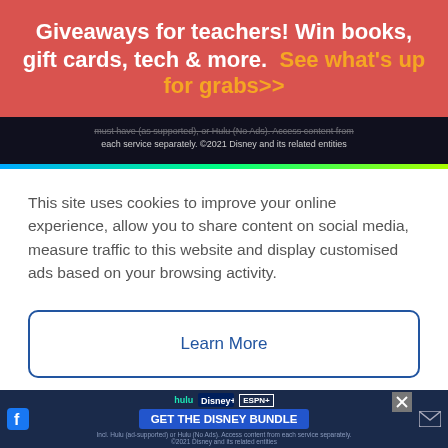Giveaways for teachers! Win books, gift cards, tech & more.  See what's up for grabs>>
[Figure (screenshot): Disney+ advertisement strip showing text about service subscriptions and copyright notice, with colorful gradient bar at bottom]
This site uses cookies to improve your online experience, allow you to share content on social media, measure traffic to this website and display customised ads based on your browsing activity.
Learn More
Accept
[Figure (illustration): Partial illustration of a dinosaur skull/jaw with sharp teeth on a cream background]
[Figure (screenshot): Disney Bundle advertisement at bottom showing Hulu, Disney+, ESPN+ logos with GET THE DISNEY BUNDLE call to action]